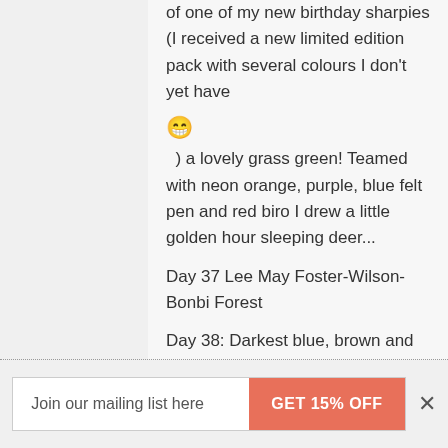of one of my new birthday sharpies (I received a new limited edition pack with several colours I don't yet have
😁
) a lovely grass green! Teamed with neon orange, purple, blue felt pen and red biro I drew a little golden hour sleeping deer...
[Figure (photo): Day 37 Lee May Foster-Wilson-Bonbi Forest image placeholder]
Day 38: Darkest blue, brown and pink sharpie with a golden yellow felt pen and blue biro...I haven't drawn a bouquet hand for ages so here you
Join our mailing list here  GET 15% OFF  ×